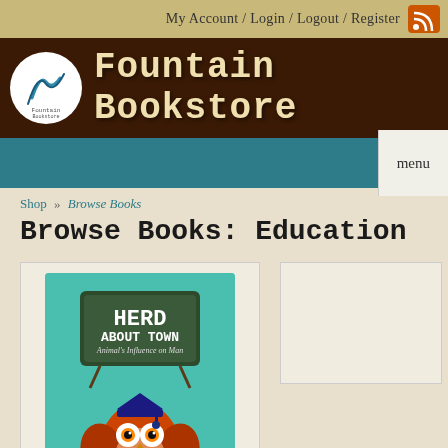My Account / Login / Logout / Register
Fountain Bookstore
menu
Shop » Browse Books
Browse Books: Education
[Figure (illustration): Book cover for 'Herd About Town: Animal's Influence on Man' showing an owl wearing a graduation cap against a teal background with a chalkboard sign]
Herd about Town: Animal's Influence on Man (Paperback)
By Robert C. Layton
$22.04